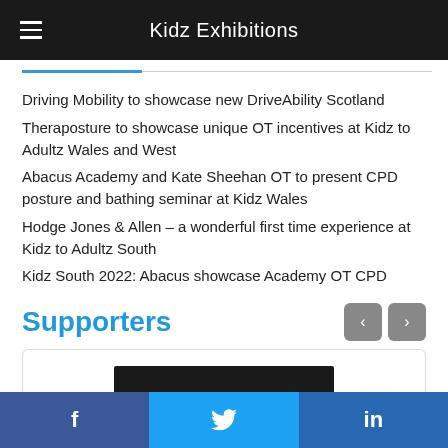Kidz Exhibitions
Driving Mobility to showcase new DriveAbility Scotland
Theraposture to showcase unique OT incentives at Kidz to Adultz Wales and West
Abacus Academy and Kate Sheehan OT to present CPD posture and bathing seminar at Kidz Wales
Hodge Jones & Allen – a wonderful first time experience at Kidz to Adultz South
Kidz South 2022: Abacus showcase Academy OT CPD
Supporters
[Figure (logo): Supporter logo card with a dark rectangular logo placeholder]
f  (Twitter bird icon)  in